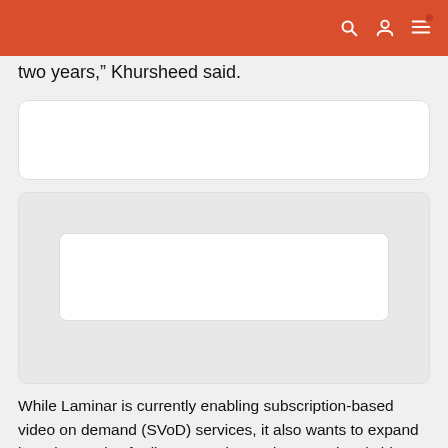[navigation bar with search, account, and menu icons]
two years,” Khursheed said.
[Figure (other): White card / content placeholder box (top)]
[Figure (other): Grey card with inner white card / content placeholder box (bottom)]
While Laminar is currently enabling subscription-based video on demand (SVoD) services, it also wants to expand its suite service for live streaming and transactional video on demand (TVoD) over the next two-three quarters.
Overall, it aims to add 6-8 streaming services on its platform by the end of 2022.